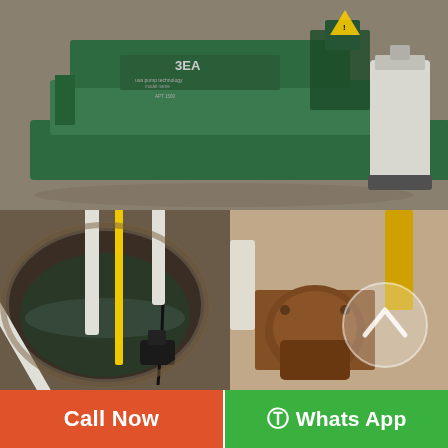[Figure (photo): A green industrial sump pump machine labeled '3EA' sitting on a concrete floor next to a white plastic container/jug]
[Figure (photo): View into a circular sump pit with water inside, containing white PVC pipes, a yellow measuring tape, and a black submersible pump]
[Figure (photo): Close-up of rusty pipe fitting and sump pump connections with a translucent circular button/icon overlay]
Call Now
⊙ Whats App